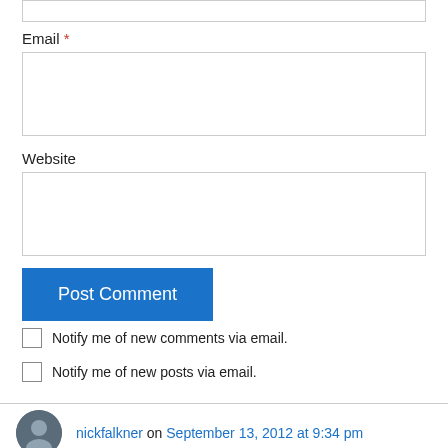[Figure (other): Empty text input box (top, partially cut off)]
Email *
[Figure (other): Email text input box]
Website
[Figure (other): Website text input box]
[Figure (other): Post Comment button (blue)]
Notify me of new comments via email.
Notify me of new posts via email.
nickfalkner on September 13, 2012 at 9:34 pm